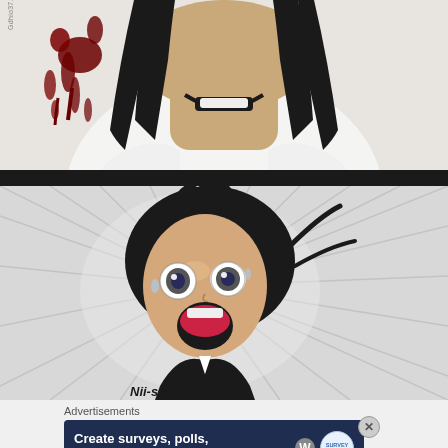[Figure (illustration): Top panel: Anime illustration of a grinning villainous character with dark hair, pale skin, and blood splatter on a white/light background. Watermark text 'Gdhio37.deviantart.com' visible vertically on the left side.]
[Figure (illustration): Bottom panel: Anime illustration of a young female character with short black hair and wide open mouth screaming in shock/horror, with radial speed lines in the background. Text 'Nii-sama!!' partially visible at bottom.]
Advertisements
[Figure (screenshot): Advertisement banner on dark navy background reading 'Create surveys, polls, quizzes, and forms.' with WordPress logo and a Survey/Poll badge icon on the right.]